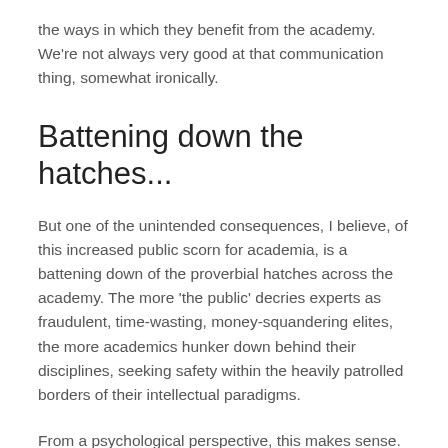the ways in which they benefit from the academy. We're not always very good at that communication thing, somewhat ironically.
Battening down the hatches...
But one of the unintended consequences, I believe, of this increased public scorn for academia, is a battening down of the proverbial hatches across the academy. The more 'the public' decries experts as fraudulent, time-wasting, money-squandering elites, the more academics hunker down behind their disciplines, seeking safety within the heavily patrolled borders of their intellectual paradigms.
From a psychological perspective, this makes sense.